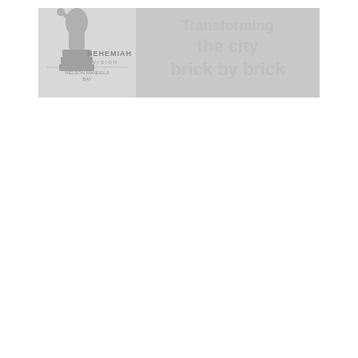[Figure (logo): Nehemiah Vision Nelson Mandela Bay logo on left side (grey, showing a figure with raised fist and stacked boxes, with text NEHEMIAH VISION and NELSON MANDELA BAY), and on right side grey banner text reading 'Transforming the city brick by brick']